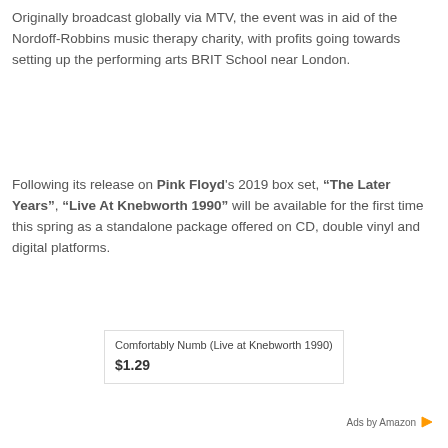Originally broadcast globally via MTV, the event was in aid of the Nordoff-Robbins music therapy charity, with profits going towards setting up the performing arts BRIT School near London.
Following its release on Pink Floyd's 2019 box set, “The Later Years”, “Live At Knebworth 1990” will be available for the first time this spring as a standalone package offered on CD, double vinyl and digital platforms.
Comfortably Numb (Live at Knebworth 1990)
$1.29
Ads by Amazon